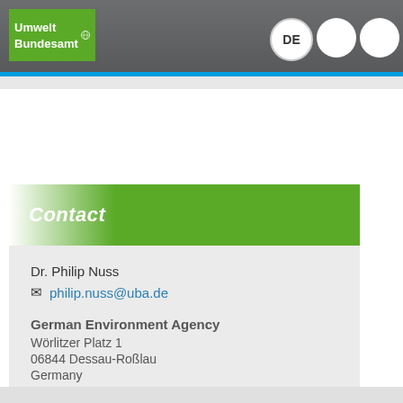Umwelt Bundesamt | DE
Contact
Dr. Philip Nuss
philip.nuss@uba.de
German Environment Agency
Wörlitzer Platz 1
06844 Dessau-Roßlau
Germany